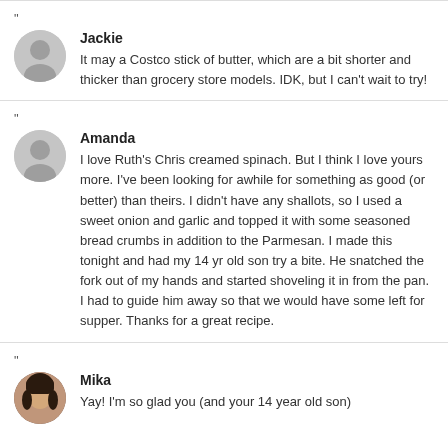"
Jackie
It may a Costco stick of butter, which are a bit shorter and thicker than grocery store models. IDK, but I can't wait to try!
"
Amanda
I love Ruth's Chris creamed spinach. But I think I love yours more. I've been looking for awhile for something as good (or better) than theirs. I didn't have any shallots, so I used a sweet onion and garlic and topped it with some seasoned bread crumbs in addition to the Parmesan. I made this tonight and had my 14 yr old son try a bite. He snatched the fork out of my hands and started shoveling it in from the pan. I had to guide him away so that we would have some left for supper. Thanks for a great recipe.
"
Mika
Yay! I'm so glad you (and your 14 year old son)